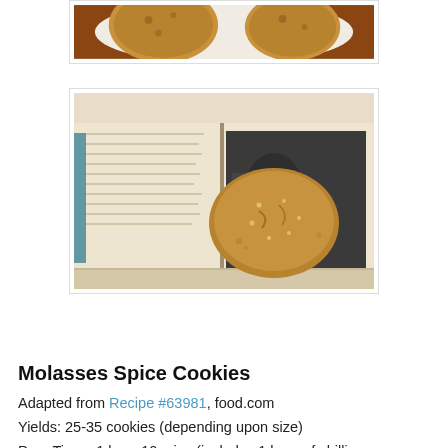[Figure (photo): Partial view of cookies on a plate from above, cropped at top of page]
[Figure (photo): A molasses spice cookie resting on an open book, photographed from above at an angle]
Print Recipe
Molasses Spice Cookies
Adapted from Recipe #63981, food.com
Yields: 25-35 cookies (depending upon size)
Prep Time:  1 hour 10 mins (includes 1 hour of chilling